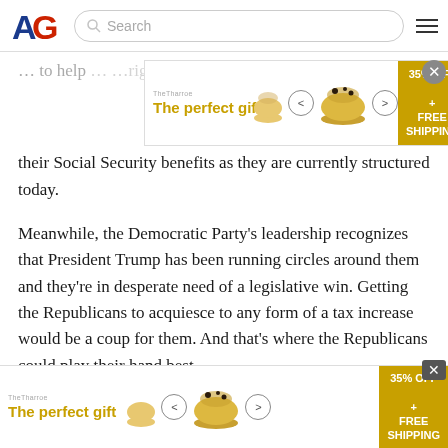[Figure (logo): American Greatness (AG) logo in red and blue]
...to help...Americans...right...
their Social Security benefits as they are currently structured today.
[Figure (infographic): Advertisement banner: The Tharroe - The perfect gift, bowl image, 35% OFF + FREE SHIPPING]
Meanwhile, the Democratic Party’s leadership recognizes that President Trump has been running circles around them and they’re in desperate need of a legislative win. Getting the Republicans to acquiesce to any form of a tax increase would be a coup for them. And that’s where the Republicans could play their hand best.
In exchange for the modest, marginal tax rate increase on those pentamillionaires and above, the Republicans coul
[Figure (infographic): Advertisement banner: The Tharroe - The perfect gift, bowl image, 35% OFF + FREE SHIPPING]